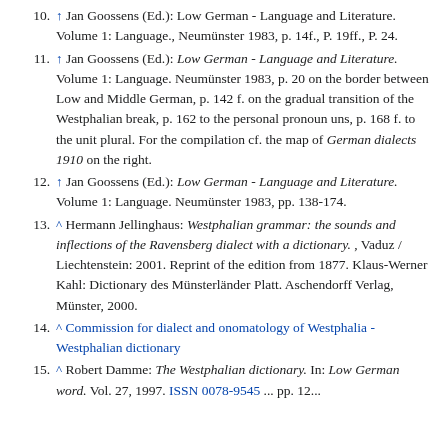10. ↑ Jan Goossens (Ed.): Low German - Language and Literature. Volume 1: Language., Neumünster 1983, p. 14f., P. 19ff., P. 24.
11. ↑ Jan Goossens (Ed.): Low German - Language and Literature. Volume 1: Language. Neumünster 1983, p. 20 on the border between Low and Middle German, p. 142 f. on the gradual transition of the Westphalian break, p. 162 to the personal pronoun uns, p. 168 f. to the unit plural. For the compilation cf. the map of German dialects 1910 on the right.
12. ↑ Jan Goossens (Ed.): Low German - Language and Literature. Volume 1: Language. Neumünster 1983, pp. 138-174.
13. ^ Hermann Jellinghaus: Westphalian grammar: the sounds and inflections of the Ravensberg dialect with a dictionary. , Vaduz / Liechtenstein: 2001. Reprint of the edition from 1877. Klaus-Werner Kahl: Dictionary des Münsterländer Platt. Aschendorff Verlag, Münster, 2000.
14. ^ Commission for dialect and onomatology of Westphalia - Westphalian dictionary
15. ^ Robert Damme: The Westphalian dictionary. In: Low German word. Vol. 27, 1997. ISSN 0078-9545 ... pp. 12...